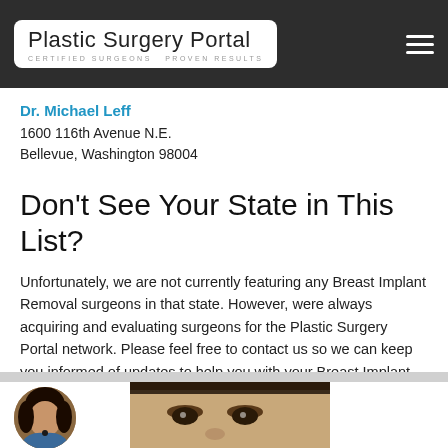[Figure (logo): Plastic Surgery Portal logo with tagline CERTIFIED SURGEONS PROVEN RESULTS in dark header bar]
Dr. Michael Leff
1600 116th Avenue N.E.
Bellevue, Washington 98004
Don't See Your State in This List?
Unfortunately, we are not currently featuring any Breast Implant Removal surgeons in that state. However, were always acquiring and evaluating surgeons for the Plastic Surgery Portal network. Please feel free to contact us so we can keep you informed of updates to help you with your Breast Implant Removal needs.
[Figure (photo): Bottom section with a woman's face photo and a teal chat bar with Chat, Schedule, and Call icons and a circular avatar photo of a woman]